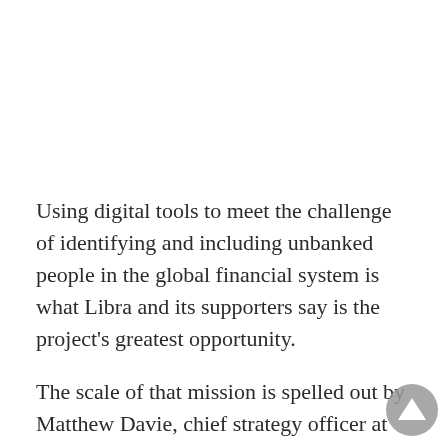Using digital tools to meet the challenge of identifying and including unbanked people in the global financial system is what Libra and its supporters say is the project's greatest opportunity.
The scale of that mission is spelled out by Matthew Davie, chief strategy officer at Kiva, a Silicon Valley-based microfinance platform that is one of the Libra Association's founding social-impact partners.
“We have to see a systems change in how the